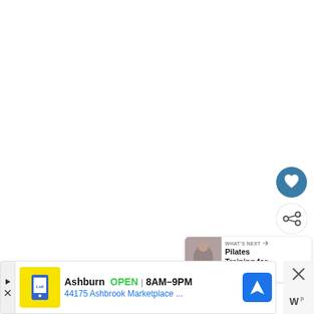[Figure (screenshot): White blank content area (video/article main content area, mostly empty/white)]
[Figure (illustration): Circular dark teal/blue button with white heart icon (favorite/like button)]
[Figure (illustration): Circular white button with share icon (share button)]
[Figure (screenshot): WHAT'S NEXT panel with thumbnail image of person doing Pilates and text 'Pilates Training for...']
[Figure (screenshot): Advertisement banner for Lidl in Ashburn showing OPEN 8AM-9PM at 44175 Ashbrook Marketplace with navigation icon]